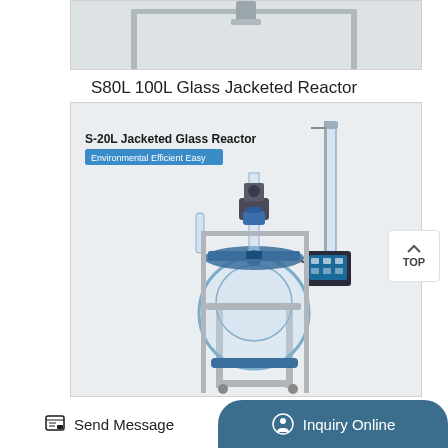[Figure (photo): Top portion of a glass jacketed reactor product image (partially visible, cropped at top)]
S80L 100L Glass Jacketed Reactor
[Figure (photo): S-20L Jacketed Glass Reactor product photo showing a laboratory glass reactor with metal frame, blue fittings, motor, condenser, and digital controller. Label reads 'S-20L Jacketed Glass Reactor - Environmental Efficient Easy']
S10L 20L 30L 50L Glass Jacketed Reactor (partially visible)
Send Message
Inquiry Online